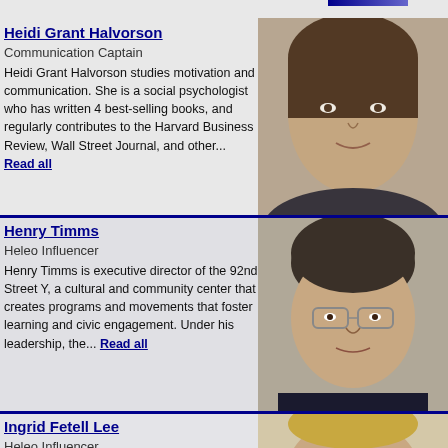Heidi Grant Halvorson
Communication Captain
Heidi Grant Halvorson studies motivation and communication. She is a social psychologist who has written 4 best-selling books, and regularly contributes to the Harvard Business Review, Wall Street Journal, and other... Read all
Henry Timms
Heleo Influencer
Henry Timms is executive director of the 92nd Street Y, a cultural and community center that creates programs and movements that foster learning and civic engagement. Under his leadership, the... Read all
Ingrid Fetell Lee
Heleo Influencer
[Figure (photo): Portrait photo of Heidi Grant Halvorson]
[Figure (photo): Portrait photo of Henry Timms]
[Figure (photo): Portrait photo of Ingrid Fetell Lee]